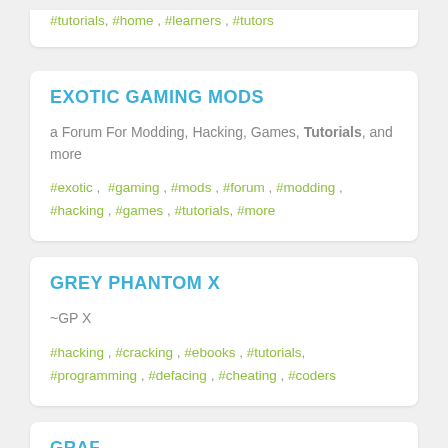#tutorials, #home , #learners , #tutors
EXOTIC GAMING MODS
a Forum For Modding, Hacking, Games, Tutorials, and more
#exotic , #gaming , #mods , #forum , #modding , #hacking , #games , #tutorials, #more
GREY PHANTOM X
~GP X
#hacking , #cracking , #ebooks , #tutorials, #programming , #defacing , #cheating , #coders
GRAF...